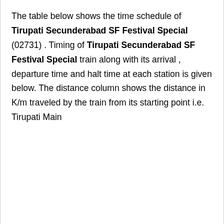The table below shows the time schedule of Tirupati Secunderabad SF Festival Special (02731) . Timing of Tirupati Secunderabad SF Festival Special train along with its arrival , departure time and halt time at each station is given below. The distance column shows the distance in K/m traveled by the train from its starting point i.e. Tirupati Main